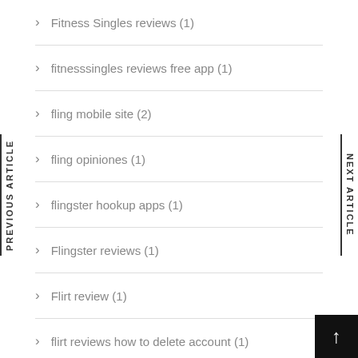Fitness Singles reviews (1)
fitnesssingles reviews free app (1)
fling mobile site (2)
fling opiniones (1)
flingster hookup apps (1)
Flingster reviews (1)
Flirt review (1)
flirt reviews how to delete account (1)